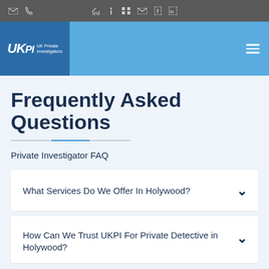[Figure (screenshot): Website top navigation bar with icons for email, phone, home, info, menu, mail, Facebook, LinkedIn on a dark gray background]
[Figure (logo): UKPI - UK Private Investigators logo: white UKPI text with UK Private Investigators text beside it on a dark blue background]
Frequently Asked Questions
Private Investigator FAQ
What Services Do We Offer In Holywood?
How Can We Trust UKPI For Private Detective in Holywood?